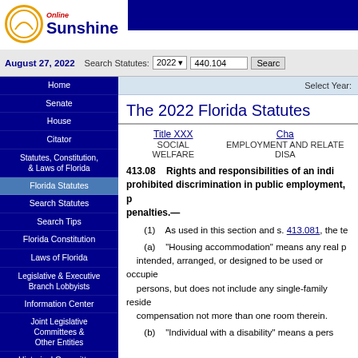[Figure (logo): Online Sunshine logo with circle and stylized text]
August 27, 2022   Search Statutes: 2022 ▾  440.104  Search
Home
Senate
House
Citator
Statutes, Constitution, & Laws of Florida
Florida Statutes
Search Statutes
Search Tips
Florida Constitution
Laws of Florida
Legislative & Executive Branch Lobbyists
Information Center
Joint Legislative Committees & Other Entities
Historical Committees
Florida Government Efficiency Task Force
Legislative Employment
Legistore
Select Year:
The 2022 Florida Statutes
Title XXX  SOCIAL WELFARE    Cha...  EMPLOYMENT AND RELATED... DISA...
413.08   Rights and responsibilities of an individual with a disability; prohibited discrimination in public employment, p... penalties.—
(1)   As used in this section and s. 413.081, the te...
(a)   "Housing accommodation" means any real p... intended, arranged, or designed to be used or occupie... persons, but does not include any single-family reside... compensation not more than one room therein.
(b)   "Individual with a disability" means a pers...